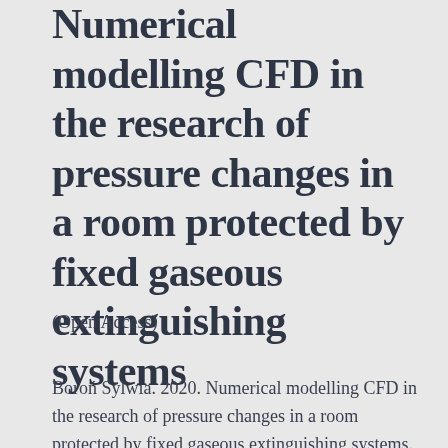Numerical modelling CFD in the research of pressure changes in a room protected by fixed gaseous extinguishing systems
(Open Access)
Boroń Sylwia. 2020. Numerical modelling CFD in the research of pressure changes in a room protected by fixed gaseous extinguishing systems. Volume 580. Issue 12.